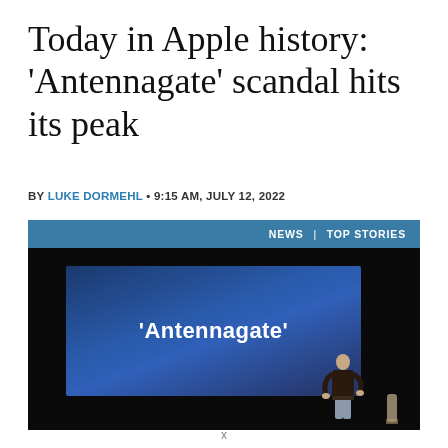Today in Apple history: ‘Antennagate’ scandal hits its peak
BY LUKE DORMEHL • 9:15 AM, JULY 12, 2022
[Figure (photo): Steve Jobs on stage presenting 'Antennagate' with a large slide behind him showing the text '‘Antennagate’'. A blue header bar at top right reads NEWS TOP STORIES.]
x